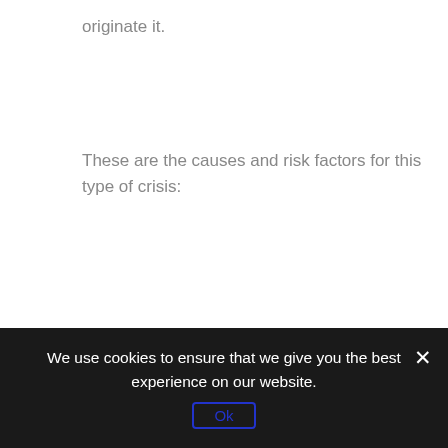originate it.
These are the causes and risk factors for this type of crisis:
– Unexpected changes
Changes such as a bereavement because of a significant and unexpected loss, a divorce, termination of employment, a forced move due to
We use cookies to ensure that we give you the best experience on our website.
Ok